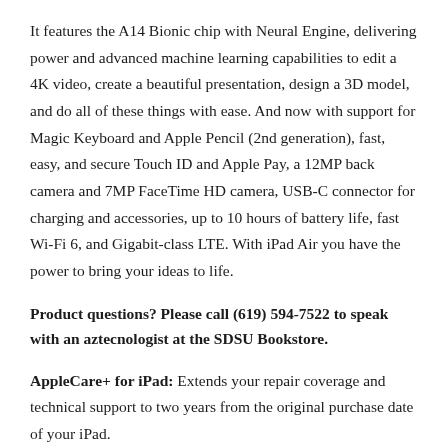It features the A14 Bionic chip with Neural Engine, delivering power and advanced machine learning capabilities to edit a 4K video, create a beautiful presentation, design a 3D model, and do all of these things with ease. And now with support for Magic Keyboard and Apple Pencil (2nd generation), fast, easy, and secure Touch ID and Apple Pay, a 12MP back camera and 7MP FaceTime HD camera, USB-C connector for charging and accessories, up to 10 hours of battery life, fast Wi-Fi 6, and Gigabit-class LTE. With iPad Air you have the power to bring your ideas to life.
Product questions? Please call (619) 594-7522 to speak with an aztecnologist at the SDSU Bookstore.
AppleCare+ for iPad: Extends your repair coverage and technical support to two years from the original purchase date of your iPad.